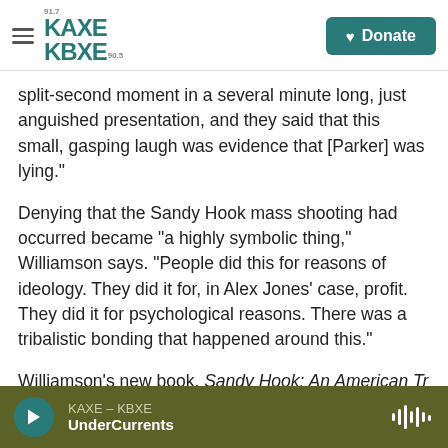KAXE KBXE 91.7 / 90.5 — Donate
split-second moment in a several minute long, just anguished presentation, and they said that this small, gasping laugh was evidence that [Parker] was lying."
Denying that the Sandy Hook mass shooting had occurred became "a highly symbolic thing," Williamson says. "People did this for reasons of ideology. They did it for, in Alex Jones' case, profit. They did it for psychological reasons. There was a tribalistic bonding that happened around this."
Williamson's new book, Sandy Hook: An American Tragedy and the Battle for Truth, examines how
KAXE – KBXE | UnderCurrents